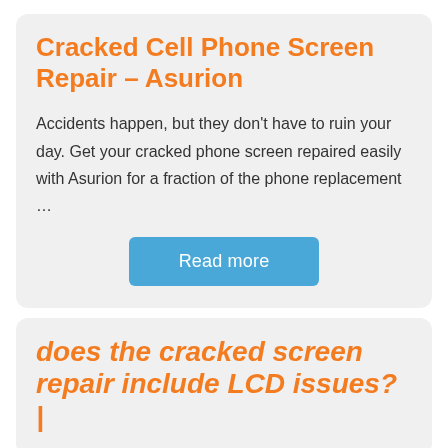Cracked Cell Phone Screen Repair – Asurion
Accidents happen, but they don't have to ruin your day. Get your cracked phone screen repaired easily with Asurion for a fraction of the phone replacement ...
Read more
does the cracked screen repair include LCD issues? |